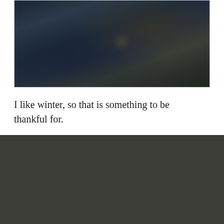[Figure (photo): Dark moody nature photograph showing frozen or wet ground with dead leaves and grass, very dark tones with deep blues and blacks, a small highlight visible near center]
I like winter, so that is something to be thankful for.
INSTAGRAM
No Instagram images were found.